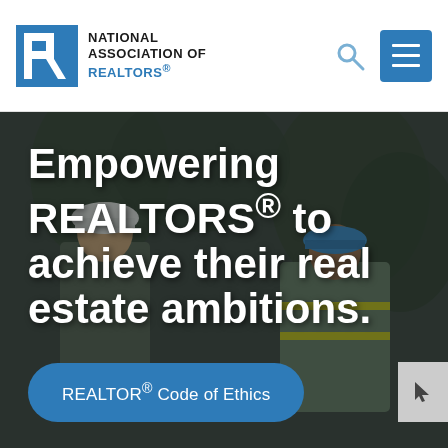[Figure (logo): National Association of REALTORS logo: blue square with white R icon, followed by bold text NATIONAL ASSOCIATION OF REALTORS with registered trademark symbol]
Empowering REALTORS® to achieve their real estate ambitions.
REALTOR® Code of Ethics